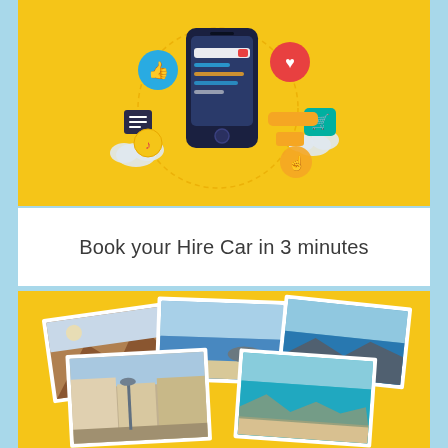[Figure (illustration): Yellow background banner with a smartphone illustration surrounded by social media and app icons (like button, heart, cart, music notes, cloud, touch) connected by dashed lines, representing a mobile app]
Book your Hire Car in 3 minutes
[Figure (photo): Yellow background section with a collage of five travel/holiday destination photos fanned out, showing coastal and Mediterranean scenes including mountain landscapes, beach and sea views, and a street scene]